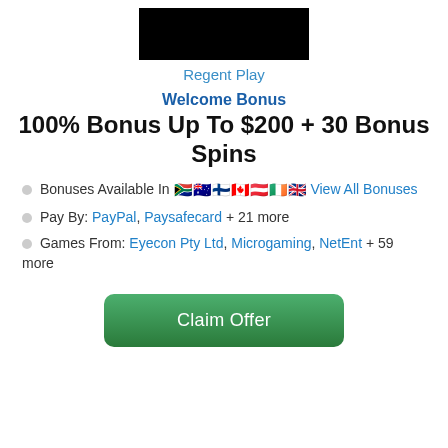[Figure (logo): Black rectangular logo block for Regent Play casino]
Regent Play
Welcome Bonus
100% Bonus Up To $200 + 30 Bonus Spins
◻ Bonuses Available In 🇿🇦 🇦🇺 🇫🇮 🇨🇦 🇦🇹 🇮🇪 🇬🇧 View All Bonuses
◻ Pay By: PayPal, Paysafecard + 21 more
◻ Games From: Eyecon Pty Ltd, Microgaming, NetEnt + 59 more
Claim Offer